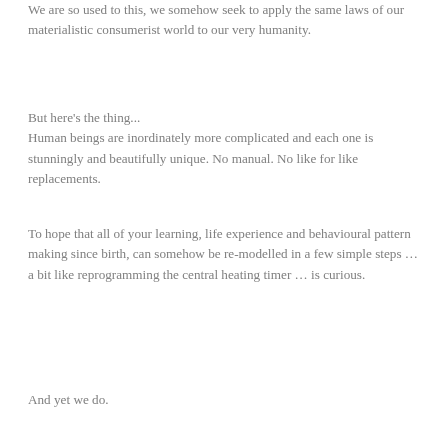We are so used to this, we somehow seek to apply the same laws of our materialistic consumerist world to our very humanity.
But here's the thing...
Human beings are inordinately more complicated and each one is stunningly and beautifully unique. No manual. No like for like replacements.
To hope that all of your learning, life experience and behavioural pattern making since birth, can somehow be re-modelled in a few simple steps … a bit like reprogramming the central heating timer … is curious.
And yet we do.